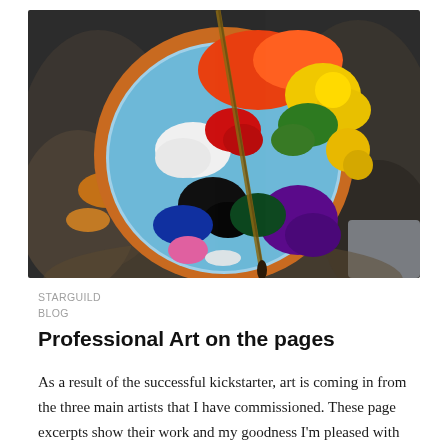[Figure (photo): Overhead view of an artist's paint palette bowl filled with colorful oil or acrylic paints including orange, yellow, green, red, blue, purple, black and white, with a paintbrush resting in it, placed on paint-stained dark rocks.]
STARGUILD
BLOG
Professional Art on the pages
As a result of the successful kickstarter, art is coming in from the three main artists that I have commissioned. These page excerpts show their work and my goodness I'm pleased with the